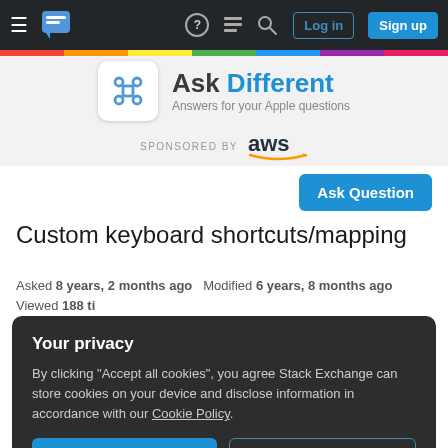[Figure (screenshot): Stack Exchange network navigation bar with hamburger menu, logo, help, chat, search icons, and Log in / Sign up buttons on dark background]
[Figure (logo): Ask Different logo with command key icon, site name 'Ask Different', tagline 'Answers for your Apple questions', and 'SPONSORED BY aws' below]
Ask Question
Custom keyboard shortcuts/mapping
Asked 8 years, 2 months ago   Modified 6 years, 8 months ago
Your privacy
By clicking "Accept all cookies", you agree Stack Exchange can store cookies on your device and disclose information in accordance with our Cookie Policy.
Accept all cookies
Customize settings
using a pointing device.